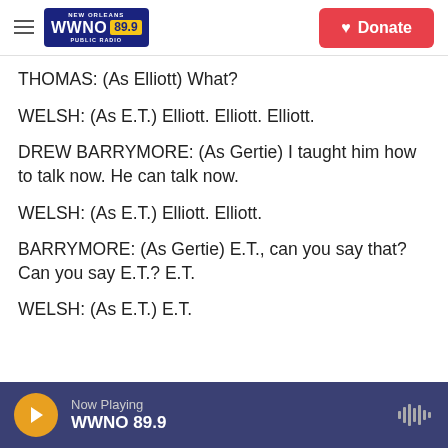WWNO 89.9 New Orleans Public Radio — Donate
THOMAS: (As Elliott) What?
WELSH: (As E.T.) Elliott. Elliott. Elliott.
DREW BARRYMORE: (As Gertie) I taught him how to talk now. He can talk now.
WELSH: (As E.T.) Elliott. Elliott.
BARRYMORE: (As Gertie) E.T., can you say that? Can you say E.T.? E.T.
WELSH: (As E.T.) E.T.
Now Playing WWNO 89.9